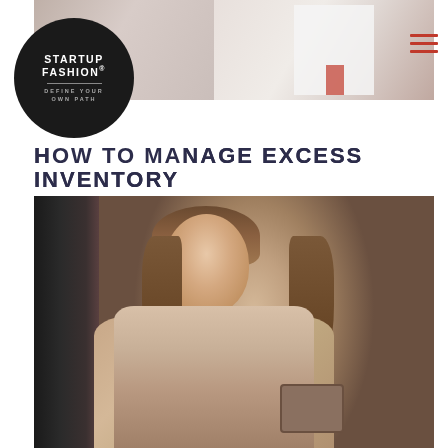[Figure (photo): Top banner photo showing fashion shoppers, blurred background with figures in white and colored clothing]
[Figure (logo): Startup Fashion logo — circular dark badge with text 'STARTUP FASHION.' and tagline 'DEFINE YOUR OWN PATH']
HOW TO MANAGE EXCESS INVENTORY
[Figure (photo): Smiling young woman with brown hair holding a tablet, wearing a beige blazer, standing outside a retail store]